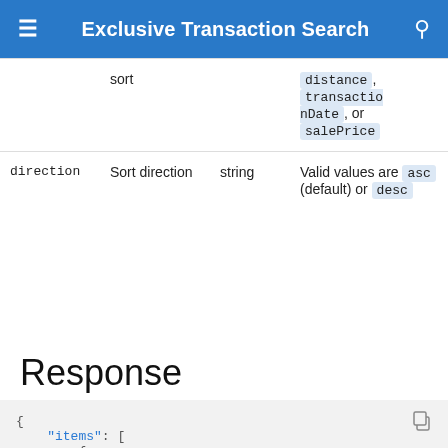Exclusive Transaction Search
|  | sort | string |  |
| --- | --- | --- | --- |
|  | sort |  | distance, transactionDate, or salePrice |
| direction | Sort direction | string | Valid values are asc (default) or desc |
Response
{
    "items": [
        {
        "uuid": "4b095e88-6641-4789-b01d-2644df2a2209"